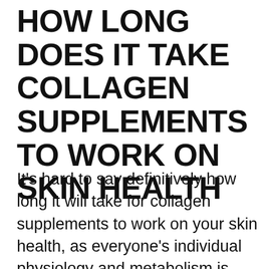HOW LONG DOES IT TAKE COLLAGEN SUPPLEMENTS TO WORK ON SKIN HEALTH
It's hard to say definitively how long it will take for collagen supplements to work on your skin health, as everyone's individual physiology and metabolism is different. However, many people report seeing positive results within a few weeks to a couple of months of regular supplementation.